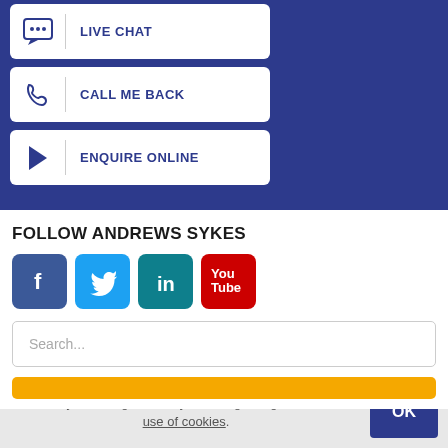[Figure (screenshot): Blue background section with three white button boxes: LIVE CHAT (chat icon), CALL ME BACK (phone icon), ENQUIRE ONLINE (cursor icon)]
FOLLOW ANDREWS SYKES
[Figure (infographic): Row of four social media icons: Facebook (blue), Twitter (light blue), LinkedIn (teal), YouTube (red with You/Tube text)]
Search...
By browsing this site you are agreeing to our use of cookies.